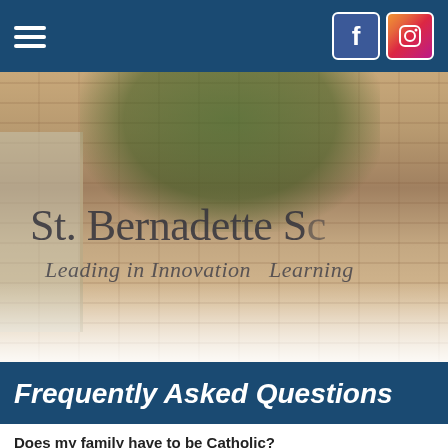St. Bernadette School navigation bar with hamburger menu, Facebook and Instagram icons
[Figure (photo): Exterior photo of St. Bernadette School building with brick facade and green trees. Text overlay reads 'St. Bernadette S' (truncated) and 'Leading in Innovation  Learning' (truncated)]
Frequently Asked Questions
Does my family have to be Catholic?